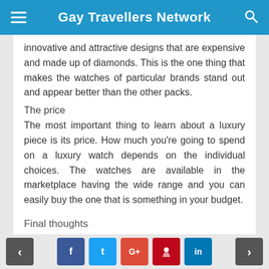Gay Travellers Network
innovative and attractive designs that are expensive and made up of diamonds. This is the one thing that makes the watches of particular brands stand out and appear better than the other packs.
The price
The most important thing to learn about a luxury piece is its price. How much you're going to spend on a luxury watch depends on the individual choices. The watches are available in the marketplace having the wide range and you can easily buy the one that is something in your budget.
Final thoughts
It is most important to learn about luxury watches...
< f t G+ p in >